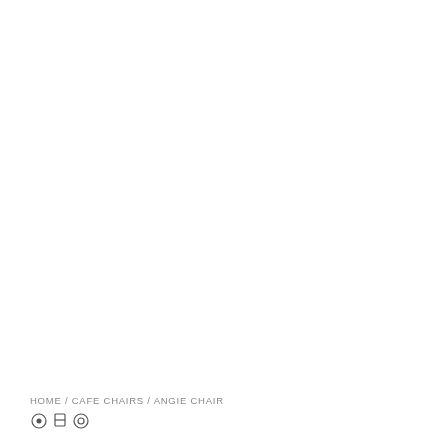HOME / CAFE CHAIRS / ANGIE CHAIR
[Figure (other): Three small social media or navigation icons at the bottom left of the page]